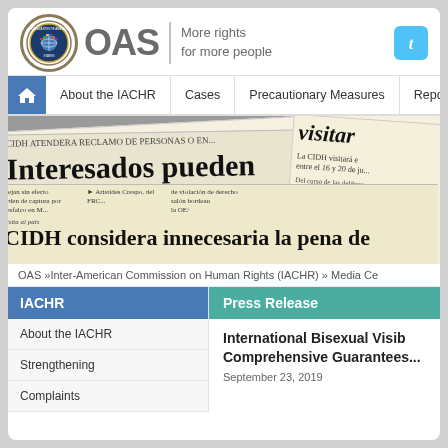OAS | More rights for more people
[Figure (screenshot): OAS organization logo seal (circular emblem with globe and flags) followed by OAS text and tagline 'More rights for more people'; Twitter bird icon in blue top right]
[Figure (screenshot): Navigation bar with home icon, About the IACHR, Cases, Precautionary Measures, Reports, S...]
[Figure (photo): Collage of Spanish-language newspaper clippings with headlines: 'CIDH ATENDERA RECLAMO DE PERSONAS O EN...', 'Interesados pueden tar denuncias', 'visitara', 'La CIDH visitará el entre el 16 y 20 de ju...', 'Visita al país CIDH considera innecesaria la pena de...']
OAS »Inter-American Commission on Human Rights (IACHR) » Media Ce
IACHR
Press Release
About the IACHR
Strengthening
Complaints
International Bisexual Visib... Comprehensive Guarantees...
September 23, 2019